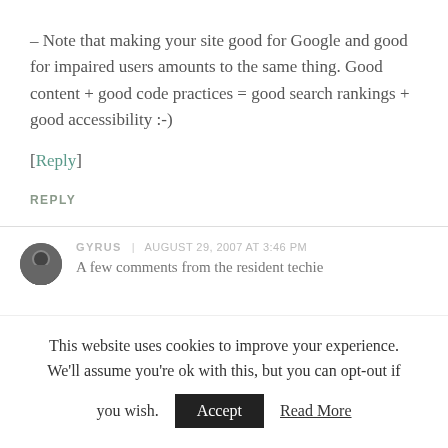– Note that making your site good for Google and good for impaired users amounts to the same thing. Good content + good code practices = good search rankings + good accessibility :-)
[Reply]
REPLY
GYRUS | AUGUST 29, 2007 AT 3:46 PM
A few comments from the resident techie
This website uses cookies to improve your experience. We'll assume you're ok with this, but you can opt-out if you wish. Accept Read More